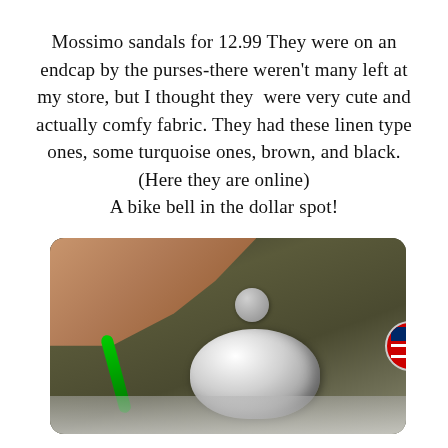Mossimo sandals for 12.99 They were on an endcap by the purses-there weren't many left at my store, but I thought they were very cute and actually comfy fabric. They had these linen type ones, some turquoise ones, brown, and black. (Here they are online) A bike bell in the dollar spot!
[Figure (photo): A hand holding a silver bike bell with an American flag emblem on top, mounted on bicycle handlebars with a green lever visible. The background shows dark soil/garden area and concrete to the right. There is a gray circular button visible above the bell.]